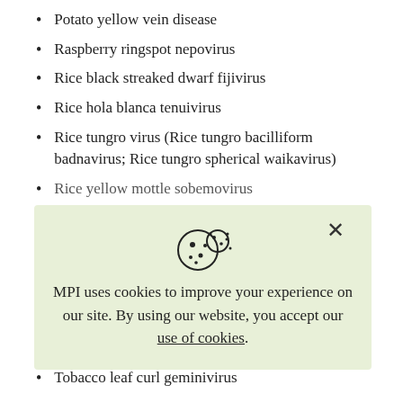Potato yellow vein disease
Raspberry ringspot nepovirus
Rice black streaked dwarf fijivirus
Rice hola blanca tenuivirus
Rice tungro virus (Rice tungro bacilliform badnavirus; Rice tungro spherical waikavirus)
Rice yellow mottle sobemovirus
[Figure (other): Cookie consent overlay with cookie icon, close button (X), and text: MPI uses cookies to improve your experience on our site. By using our website, you accept our use of cookies.]
Tobacco leaf curl geminivirus